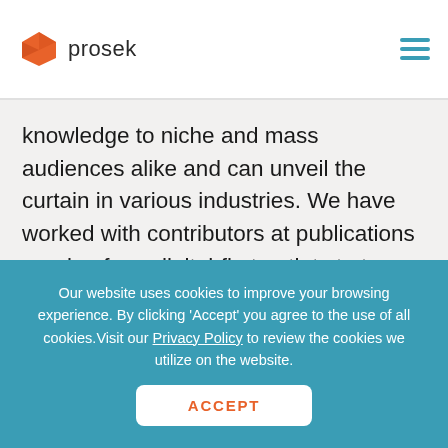prosek
knowledge to niche and mass audiences alike and can unveil the curtain in various industries. We have worked with contributors at publications ranging from digital-first outlets to top-tier print publications, and the vast majority are fantastic to work with and adhere to strict journalistic rigor. We wouldn't want them to go away.
Our website uses cookies to improve your browsing experience. By clicking 'Accept' you agree to the use of all cookies.Visit our Privacy Policy to review the cookies we utilize on the website.